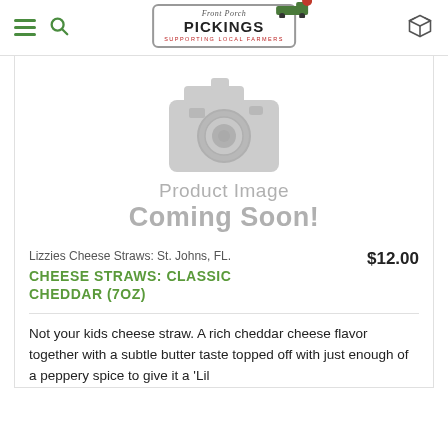Front Porch Pickings — Supporting Local Farmers
[Figure (illustration): Product image placeholder: camera icon with 'Product Image Coming Soon!' text in gray]
Lizzies Cheese Straws: St. Johns, FL.
$12.00
CHEESE STRAWS: CLASSIC CHEDDAR (7OZ)
Not your kids cheese straw. A rich cheddar cheese flavor together with a subtle butter taste topped off with just enough of a peppery spice to give it a 'Lil